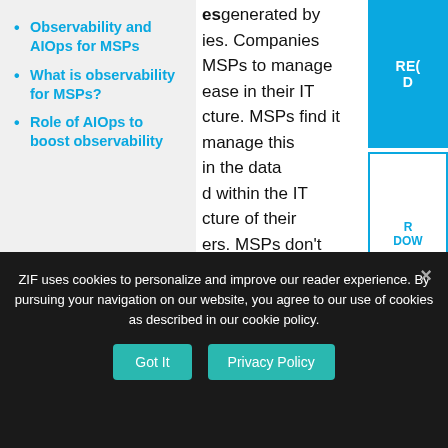Observability and AIOps for MSPs
What is observability for MSPs?
Role of AIOps to boost observability
esgenerated by ies. Companies MSPs to manage ease in their IT cture. MSPs find it manage this in the data d within the IT cture of their ers. MSPs don't workforce to manage the increase in data. Manual monitoring of the IT infrastructure isn't
ZIF uses cookies to personalize and improve our reader experience. By pursuing your navigation on our website, you agree to our use of cookies as described in our cookie policy.
Got It
Privacy Policy